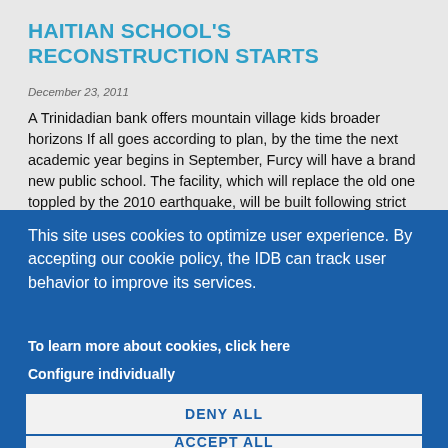HAITIAN SCHOOL'S RECONSTRUCTION STARTS
December 23, 2011
A Trinidadian bank offers mountain village kids broader horizons If all goes according to plan, by the time the next academic year begins in September, Furcy will have a brand new public school. The facility, which will replace the old one toppled by the 2010 earthquake, will be built following strict construction standards
This site uses cookies to optimize user experience. By accepting our cookie policy, the IDB can track user behavior to improve its services.
To learn more about cookies, click here
Configure individually
DENY ALL
ACCEPT ALL